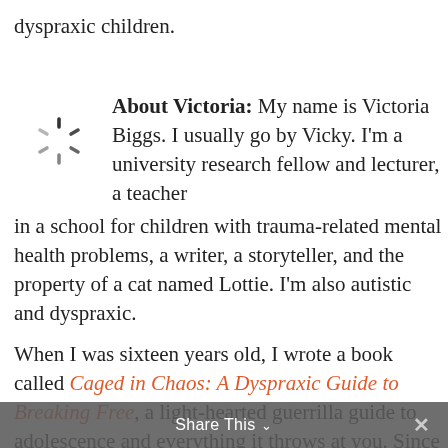dyspraxic children.
About Victoria: My name is Victoria Biggs. I usually go by Vicky. I'm a university research fellow and lecturer, a teacher in a school for children with trauma-related mental health problems, a writer, a storyteller, and the property of a cat named Lottie. I'm also autistic and dyspraxic.
[Figure (other): Loading spinner icon — a circular arrangement of short radial lines resembling a clock/spinner, typical browser or app loading indicator]
When I was sixteen years old, I wrote a book called Caged in Chaos: A Dyspraxic Guide to Breaking Free, a light-hearted guerrilla guide to adolescence and everything it throws at you. Since it came out I've been a regular
Share This ∨  ×